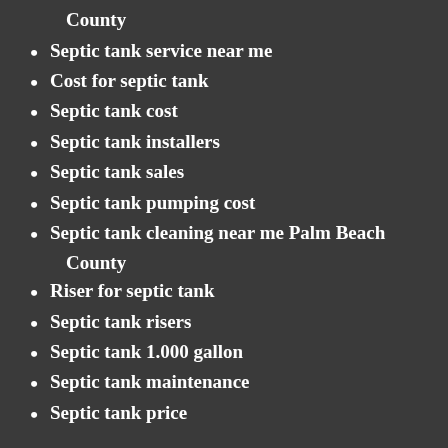County
Septic tank service near me
Cost for septic tank
Septic tank cost
Septic tank installers
Septic tank sales
Septic tank pumping cost
Septic tank cleaning near me Palm Beach County
Riser for septic tank
Septic tank risers
Septic tank 1.000 gallon
Septic tank maintenance
Septic tank price